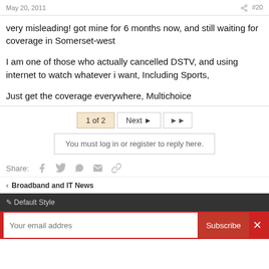May 20, 2011   #20
very misleading! got mine for 6 months now, and still waiting for coverage in Somerset-west
I am one of those who actually cancelled DSTV, and using internet to watch whatever i want, Including Sports,
Just get the coverage everywhere, Multichoice
1 of 2   Next ▶   ▶▶
You must log in or register to reply here.
Share: [facebook] [twitter] [whatsapp] [email] [link]
< Broadband and IT News
✏ Default Style
Your email addres   Subscribe   ✕